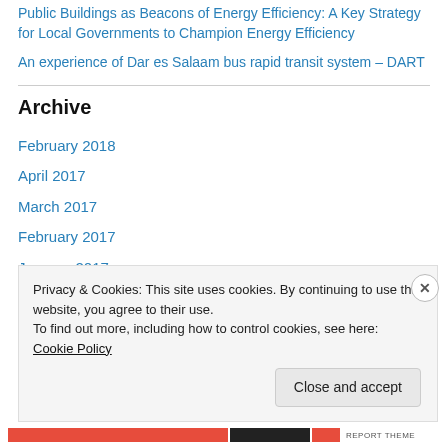Public Buildings as Beacons of Energy Efficiency: A Key Strategy for Local Governments to Champion Energy Efficiency
An experience of Dar es Salaam bus rapid transit system – DART
Archive
February 2018
April 2017
March 2017
February 2017
January 2017
December 2016
Privacy & Cookies: This site uses cookies. By continuing to use this website, you agree to their use. To find out more, including how to control cookies, see here: Cookie Policy